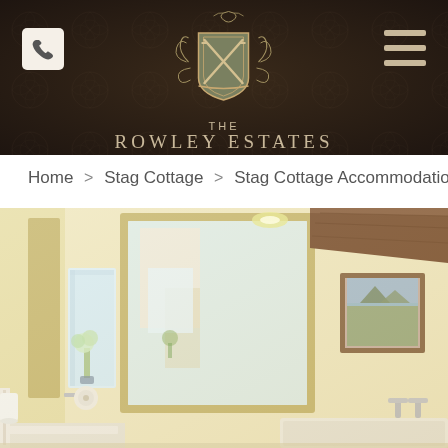[Figure (logo): The Rowley Estates crest logo with crossed swords on a shield surrounded by decorative foliage, in gold/tan on dark brown damask patterned header background]
Home > Stag Cottage > Stag Cottage Accommodation
[Figure (photo): Interior bathroom photo of Stag Cottage showing a large mirror with oak frame, cream/yellow walls, exposed wooden beam, framed artwork, toilet roll holder, bath, and small vase of flowers]